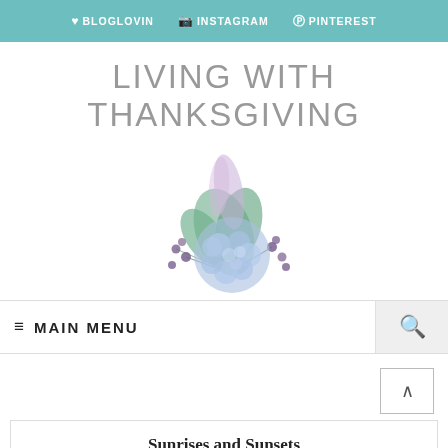♥BLOGLOVIN  📷INSTAGRAM  ⓟPINTEREST
LIVING WITH THANKSGIVING
[Figure (illustration): Watercolor floral arrangement with blue hydrangea, green leaves, purple berries, and feathers]
≡ MAIN MENU
Sunrises and Sunsets